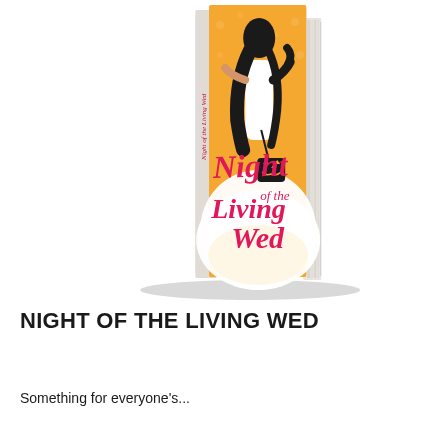[Figure (illustration): 3D book cover mockup of 'Night of the Living Wed'. Book cover has an orange background with subtle ghost/skull pattern. A woman in a white wedding dress with dark hair holds a black jack-o-lantern trick-or-treat bag. The title 'Night of the Living Wed' is written in pink/red cursive script on the cover. The book is shown at a slight angle to show its spine and pages.]
NIGHT OF THE LIVING WED
Something for everyone's...